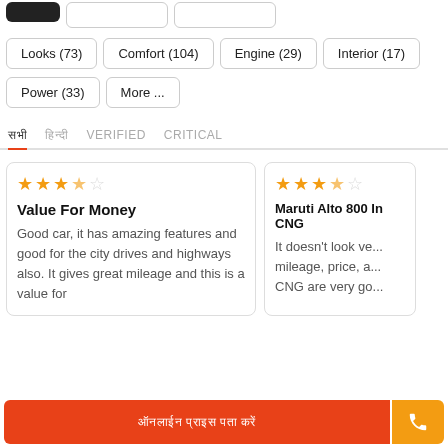Looks (73)
Comfort (104)
Engine (29)
Interior (17)
Power (33)
More ...
सभी | हिन्दी | VERIFIED | CRITICAL
Value For Money – Good car, it has amazing features and good for the city drives and highways also. It gives great mileage and this is a value for
Maruti Alto 800 In CNG – It doesn't look ve... mileage, price, a... CNG are very go...
ऑनलाईन प्राइस पता करें